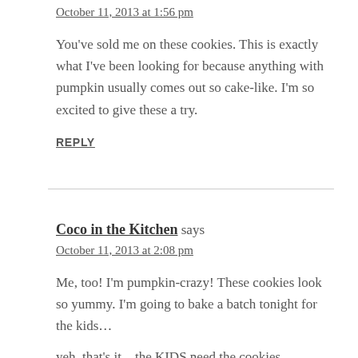October 11, 2013 at 1:56 pm
You've sold me on these cookies. This is exactly what I've been looking for because anything with pumpkin usually comes out so cake-like. I'm so excited to give these a try.
REPLY
Coco in the Kitchen says
October 11, 2013 at 2:08 pm
Me, too! I'm pumpkin-crazy! These cookies look so yummy. I'm going to bake a batch tonight for the kids…
yeh, that's it…the KIDS need the cookies.